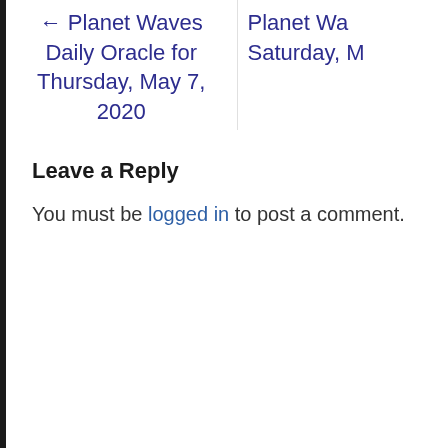← Planet Waves Daily Oracle for Thursday, May 7, 2020
Planet Wa... Saturday, M...
Leave a Reply
You must be logged in to post a comment.